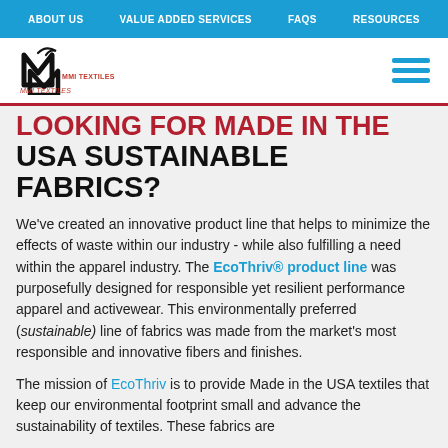ABOUT US   VALUE ADDED SERVICES   FAQS   RESOURCES
[Figure (logo): MMI Textiles logo with stylized M letters and bird icon]
LOOKING FOR MADE IN THE USA SUSTAINABLE FABRICS?
We've created an innovative product line that helps to minimize the effects of waste within our industry - while also fulfilling a need within the apparel industry. The EcoThriv® product line was purposefully designed for responsible yet resilient performance apparel and activewear. This environmentally preferred (sustainable) line of fabrics was made from the market's most responsible and innovative fibers and finishes.
The mission of EcoThriv is to provide Made in the USA textiles that keep our environmental footprint small and advance the sustainability of textiles. These fabrics are